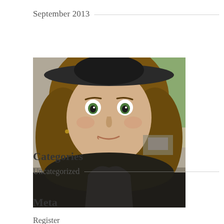September 2013
[Figure (photo): A selfie photo of a young woman with long blonde/brown hair, making a wide-eyed expression, wearing a black jacket, photographed outdoors.]
Categories
Uncategorized
Meta
Register